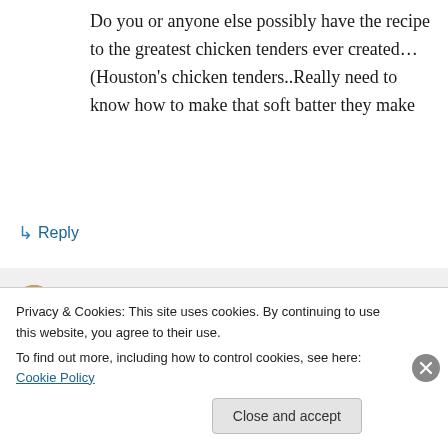Do you or anyone else possibly have the recipe to the greatest chicken tenders ever created… (Houston's chicken tenders..Really need to know how to make that soft batter they make
↳ Reply
Kris on January 28, 2013 at 11:06 pm
I want the chicken tenders recipe also! It's not even on their menu anymore but you
Privacy & Cookies: This site uses cookies. By continuing to use this website, you agree to their use.
To find out more, including how to control cookies, see here: Cookie Policy